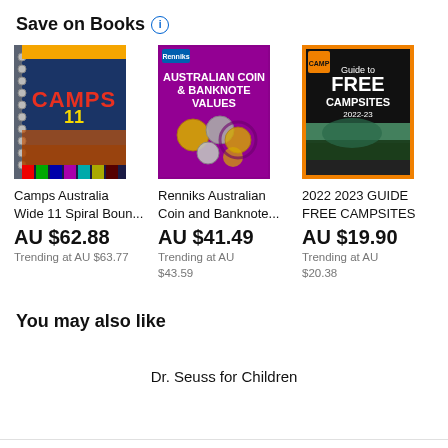Save on Books
[Figure (photo): Book cover: Camps Australia Wide 11 Spiral Bound]
Camps Australia Wide 11 Spiral Boun...
AU $62.88
Trending at AU $63.77
[Figure (photo): Book cover: Renniks Australian Coin and Banknote Values]
Renniks Australian Coin and Banknote...
AU $41.49
Trending at AU $43.59
[Figure (photo): Book cover: 2022 2023 Guide to Free Campsites]
2022 2023 GUIDE FREE CAMPSITES
AU $19.90
Trending at AU $20.38
You may also like
Dr. Seuss for Children